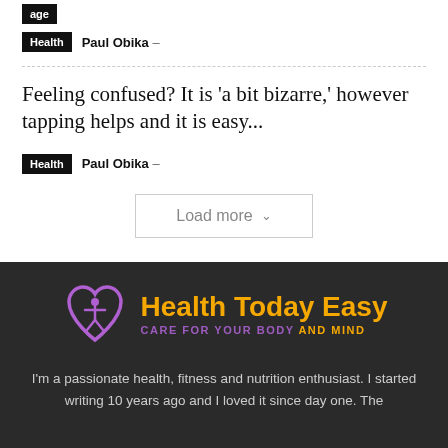age
Health  Paul Obika –
Feeling confused? It is 'a bit bizarre,' however tapping helps and it is easy...
Health  Paul Obika –
Load more
[Figure (logo): Health Today Easy logo with purple heart/person icon, orange bold title text 'Health Today Easy', and subtitle 'CARE FOR YOUR BODY AND MIND' in purple and orange]
I'm a passionate health, fitness and nutrition enthusiast. I started writing 10 years ago and I loved it since day one. The